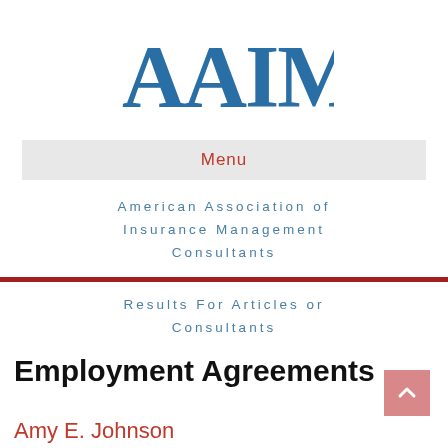[Figure (logo): AAIMCo logo in blue serif font]
Menu
American Association of Insurance Management Consultants
Results For Articles or Consultants
Employment Agreements
Amy E. Johnson